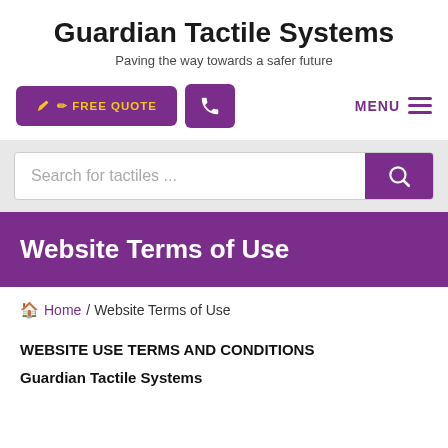Guardian Tactile Systems
Paving the way towards a safer future
[Figure (screenshot): Navigation bar with FREE QUOTE button, phone icon button, and MENU button]
[Figure (screenshot): Search bar with placeholder 'Search for tactiles ...' and purple search button]
Website Terms of Use
Home / Website Terms of Use
WEBSITE USE TERMS AND CONDITIONS
Guardian Tactile Systems